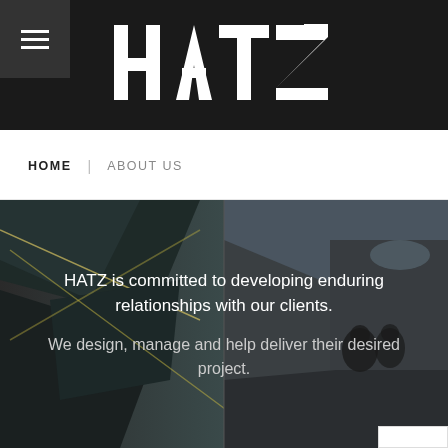HATZ
HOME | ABOUT US
[Figure (photo): Dark geometric interior architectural photo with a meeting room scene on the right side, featuring angular panels and LED strip lights on the left.]
HATZ is committed to developing enduring relationships with our clients. We design, manage and help deliver their desired project.